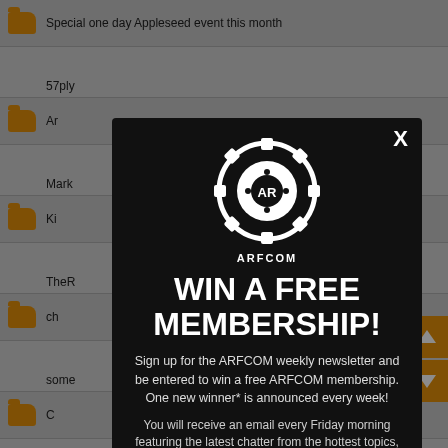[Figure (screenshot): Background showing a forum thread list with orange folder icons and row text partially visible behind a modal overlay.]
[Figure (infographic): ARFCOM modal popup with dark background. Contains the ARFCOM gear logo, close (X) button, headline 'WIN A FREE MEMBERSHIP!', descriptive text about signing up for the ARFCOM weekly newsletter to win a free membership, and a text input field at the bottom.]
WIN A FREE MEMBERSHIP!
Sign up for the ARFCOM weekly newsletter and be entered to win a free ARFCOM membership. One new winner* is announced every week!
You will receive an email every Friday morning featuring the latest chatter from the hottest topics, breaking news surrounding legislation, as well as exclusive deals only available to ARFCOM email subscribers.